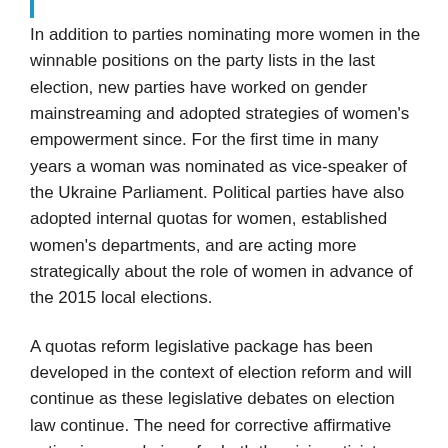In addition to parties nominating more women in the winnable positions on the party lists in the last election, new parties have worked on gender mainstreaming and adopted strategies of women's empowerment since. For the first time in many years a woman was nominated as vice-speaker of the Ukraine Parliament. Political parties have also adopted internal quotas for women, established women's departments, and are acting more strategically about the role of women in advance of the 2015 local elections.
A quotas reform legislative package has been developed in the context of election reform and will continue as these legislative debates on election law continue. The need for corrective affirmative action is now obvious for both the civic activists working on gender and for the parliamentarians themselves.